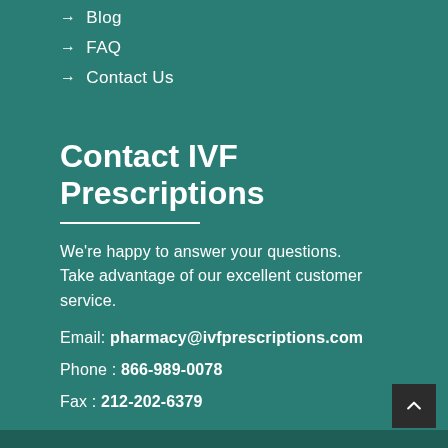→ Blog
→ FAQ
→ Contact Us
Contact IVF Prescriptions
We're happy to answer your questions. Take advantage of our excellent customer service.
Email: pharmacy@ivfprescriptions.com
Phone : 866-989-0078
Fax : 212-202-6379